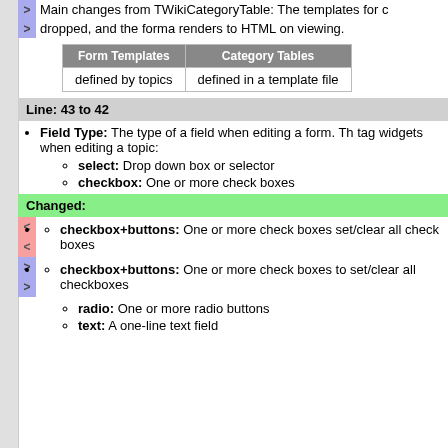> Main changes from TWikiCategoryTable: The templates for c
> dropped, and the forma renders to HTML on viewing.
| Form Templates | Category Tables |
| --- | --- |
| defined by topics | defined in a template file |
Line: 43 to 42
Field Type: The type of a field when editing a form. Th tag widgets when editing a topic:
select: Drop down box or selector
checkbox: One or more check boxes
Changed:
< checkbox+buttons: One or more check boxes set/clear all check boxes
> checkbox+buttons: One or more check boxes to set/clear all checkboxes
radio: One or more radio buttons
text: A one-line text field